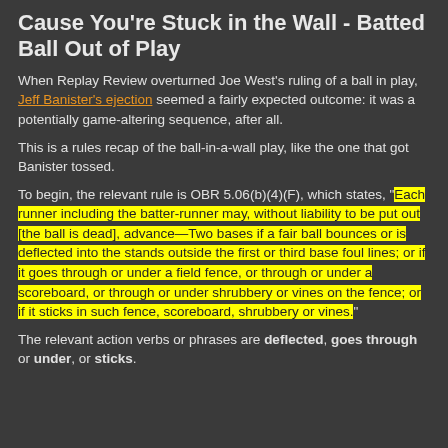Cause You're Stuck in the Wall - Batted Ball Out of Play
When Replay Review overturned Joe West's ruling of a ball in play, Jeff Banister's ejection seemed a fairly expected outcome: it was a potentially game-altering sequence, after all.
This is a rules recap of the ball-in-a-wall play, like the one that got Banister tossed.
To begin, the relevant rule is OBR 5.06(b)(4)(F), which states, "Each runner including the batter-runner may, without liability to be put out [the ball is dead], advance—Two bases if a fair ball bounces or is deflected into the stands outside the first or third base foul lines; or if it goes through or under a field fence, or through or under a scoreboard, or through or under shrubbery or vines on the fence; or if it sticks in such fence, scoreboard, shrubbery or vines."
The relevant action verbs or phrases are deflected, goes through or under, or sticks.